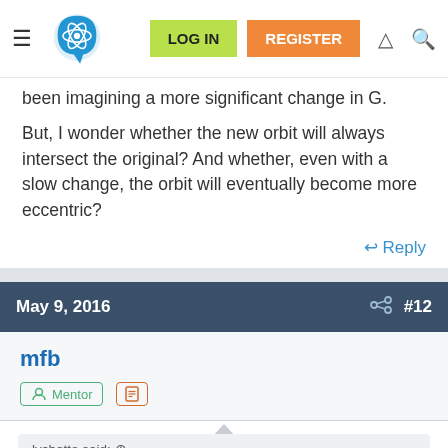Physics Forums — LOG IN | REGISTER
been imagining a more significant change in G.
But, I wonder whether the new orbit will always intersect the original? And whether, even with a slow change, the orbit will eventually become more eccentric?
↩ Reply
May 9, 2016  #12
mfb
Mentor
lychette said: